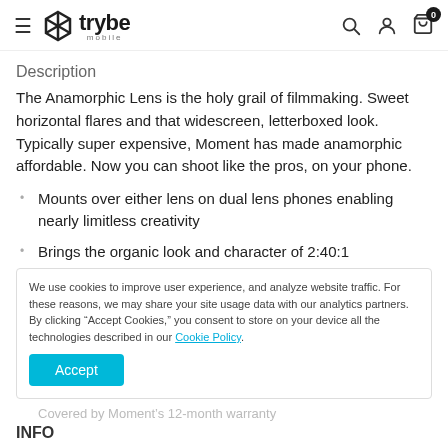trybe mobile — navigation header with search, account, and cart icons
Description
The Anamorphic Lens is the holy grail of filmmaking. Sweet horizontal flares and that widescreen, letterboxed look. Typically super expensive, Moment has made anamorphic affordable. Now you can shoot like the pros, on your phone.
Mounts over either lens on dual lens phones enabling nearly limitless creativity
Brings the organic look and character of 2:40:1
We use cookies to improve user experience, and analyze website traffic. For these reasons, we may share your site usage data with our analytics partners. By clicking "Accept Cookies," you consent to store on your device all the technologies described in our Cookie Policy.
Covered by Moment's 12-month warranty
INFO